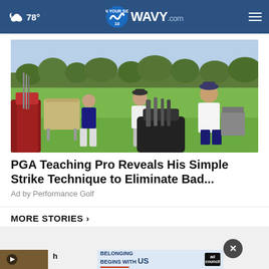78° WAVY.com ON YOUR SIDE
[Figure (photo): Outdoor golf lesson scene with a PGA teaching pro and several golfers on a green golf course. Golf bags and equipment are visible in the foreground.]
PGA Teaching Pro Reveals His Simple Strike Technique to Eliminate Bad...
Ad by Performance Golf
MORE STORIES ›
[Figure (photo): Thumbnail image with video play button]
[Figure (screenshot): Ad banner: BELONGING BEGINS WITH US with Ad Council logo]